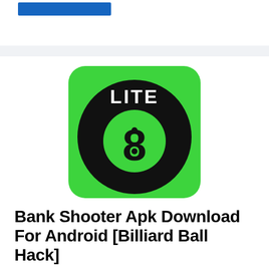[Figure (logo): 8-ball billiard app icon with green rounded-square background, large black circle, inner green circle with black number 8, and white bold text 'LITE' at the top of the circle]
Bank Shooter Apk Download For Android [Billiard Ball Hack]